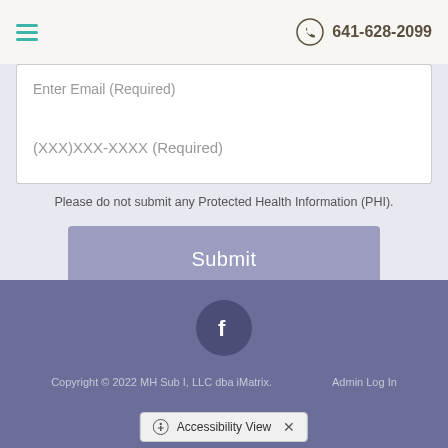641-628-2099
Enter Email (Required)
(XXX)XXX-XXXX (Required)
Please do not submit any Protected Health Information (PHI).
Submit
[Figure (logo): Facebook icon circle]
Copyright © 2022 MH Sub I, LLC dba iMatrix.    Admin Log In
Accessibility View